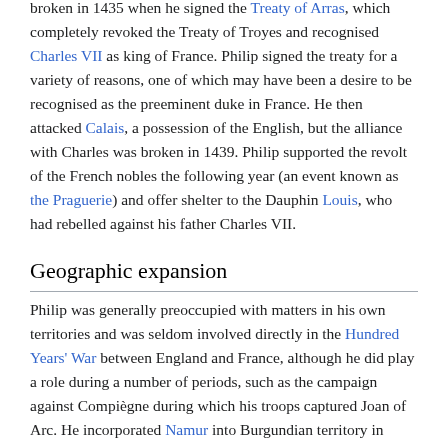broken in 1435 when he signed the Treaty of Arras, which completely revoked the Treaty of Troyes and recognised Charles VII as king of France. Philip signed the treaty for a variety of reasons, one of which may have been a desire to be recognised as the preeminent duke in France. He then attacked Calais, a possession of the English, but the alliance with Charles was broken in 1439. Philip supported the revolt of the French nobles the following year (an event known as the Praguerie) and offer shelter to the Dauphin Louis, who had rebelled against his father Charles VII.
Geographic expansion
Philip was generally preoccupied with matters in his own territories and was seldom involved directly in the Hundred Years' War between England and France, although he did play a role during a number of periods, such as the campaign against Compiègne during which his troops captured Joan of Arc. He incorporated Namur into Burgundian territory in 1429 (by purchase from John III, Marquis of Namur) and Hainault and Holland, Friesland and Zeeland in 1432 with the defeat of Jacqueline, Countess of